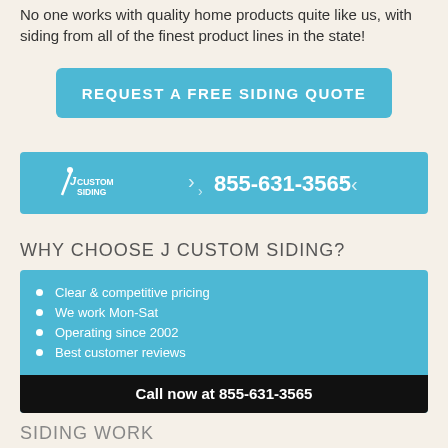No one works with quality home products quite like us, with siding from all of the finest product lines in the state!
[Figure (infographic): Blue rounded rectangle button with white uppercase text: REQUEST A FREE SIDING QUOTE]
[Figure (infographic): Blue banner with J Custom Siding logo on the left and phone number 855-631-3565 with decorative arrows on the right]
WHY CHOOSE J CUSTOM SIDING?
Clear & competitive pricing
We work Mon-Sat
Operating since 2002
Best customer reviews
Call now at 855-631-3565
SIDING WORK